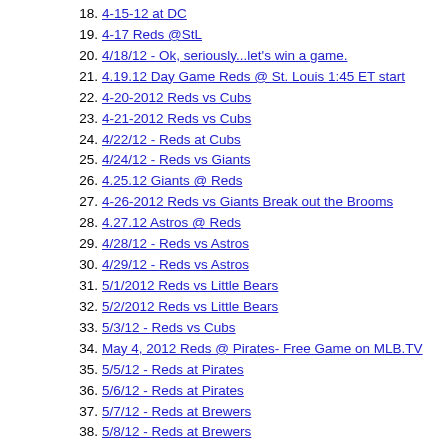18. 4-15-12 at DC
19. 4-17 Reds @StL
20. 4/18/12 - Ok, seriously...let's win a game.
21. 4.19.12 Day Game Reds @ St. Louis 1:45 ET start
22. 4-20-2012 Reds vs Cubs
23. 4-21-2012 Reds vs Cubs
24. 4/22/12 - Reds at Cubs
25. 4/24/12 - Reds vs Giants
26. 4.25.12 Giants @ Reds
27. 4-26-2012 Reds vs Giants Break out the Brooms
28. 4.27.12 Astros @ Reds
29. 4/28/12 - Reds vs Astros
30. 4/29/12 - Reds vs Astros
31. 5/1/2012 Reds vs Little Bears
32. 5/2/2012 Reds vs Little Bears
33. 5/3/12 - Reds vs Cubs
34. May 4, 2012 Reds @ Pirates- Free Game on MLB.TV
35. 5/5/12 - Reds at Pirates
36. 5/6/12 - Reds at Pirates
37. 5/7/12 - Reds at Brewers
38. 5/8/12 - Reds at Brewers
39. 5/9/12 -- Reds at Brewers
40. 5/11/12 -- Nationals at Reds
41. 5/12/12 -- Nationals at Reds
42. 5/13/12 - Reds vs Nationals
43. 5/14/12 - Reds at Braves
44. 5/15/2012 Reds vs Braves
45. 5/16/12 - Reds at Mets
46. 5/17/12 - Reds @ Mets
47. 5/18/12 - Reds at Yankees